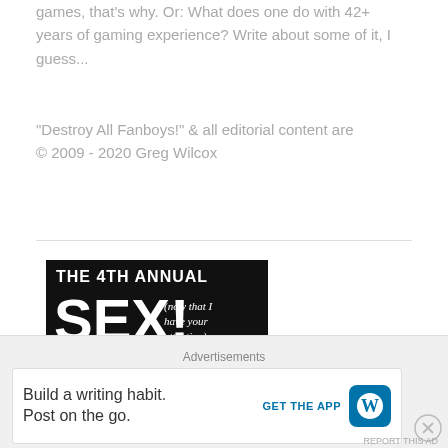games, that's why. Or: What does one do with 42+ years of gaming experience? Write about some of it, I guess...
"Destroy All Fanboys!" & all editorial content are
© 2009 - 2020 Greg Wilcox
[Figure (illustration): Banner for 'The 4th Annual SEX! (now that I have your attention) BLOGATHON' with black background text area and a black-and-white film still showing a woman and man in conversation]
Advertisements
Build a writing habit.
Post on the go.
GET THE APP